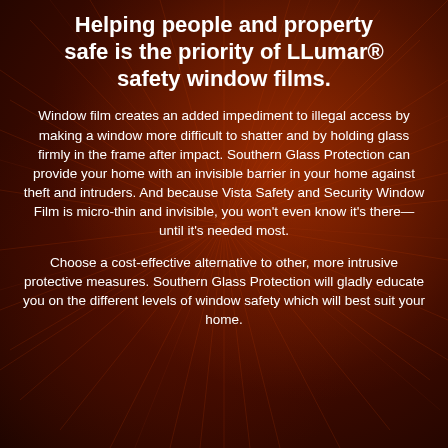[Figure (illustration): Dark reddish-brown background with radiating spiky/fiber-like abstract pattern, resembling a starburst or shattered glass, in deep amber and crimson tones.]
Helping people and property safe is the priority of LLumar® safety window films.
Window film creates an added impediment to illegal access by making a window more difficult to shatter and by holding glass firmly in the frame after impact. Southern Glass Protection can provide your home with an invisible barrier in your home against theft and intruders. And because Vista Safety and Security Window Film is micro-thin and invisible, you won't even know it's there—until it's needed most.
Choose a cost-effective alternative to other, more intrusive protective measures. Southern Glass Protection will gladly educate you on the different levels of window safety which will best suit your home.